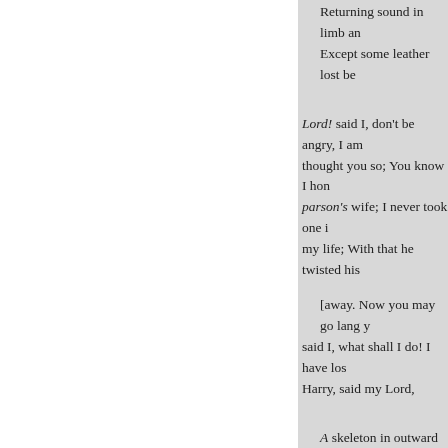Returning sound in limb an[d...]
Except some leather lost be[...]
Lord! said I, don't be angry, I am[...] thought you so; You know I hon[...] parson's wife; I never took one i[...] my life; With that he twisted his[...]
[away. Now you may go lang y...] said I, what shall I do! I have los[...] Harry, said my Lord,
A skeleton in outward figu[...] His rneagre corpse. Though[...] Would halt behind him, wer[...]
So wonderful his expeditio[...] When you have not the leas[...] He's with you like an appari[...]
Shines in all climates like a[...] In senates bold, and fierce i[...]